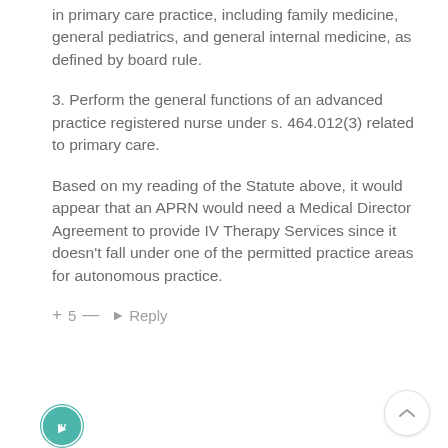in primary care practice, including family medicine, general pediatrics, and general internal medicine, as defined by board rule.
3. Perform the general functions of an advanced practice registered nurse under s. 464.012(3) related to primary care.
Based on my reading of the Statute above, it would appear that an APRN would need a Medical Director Agreement to provide IV Therapy Services since it doesn't fall under one of the permitted practice areas for autonomous practice.